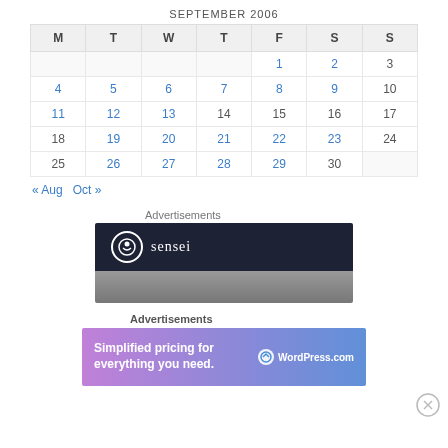SEPTEMBER 2006
| M | T | W | T | F | S | S |
| --- | --- | --- | --- | --- | --- | --- |
|  |  |  |  | 1 | 2 | 3 |
| 4 | 5 | 6 | 7 | 8 | 9 | 10 |
| 11 | 12 | 13 | 14 | 15 | 16 | 17 |
| 18 | 19 | 20 | 21 | 22 | 23 | 24 |
| 25 | 26 | 27 | 28 | 29 | 30 |  |
« Aug   Oct »
Advertisements
[Figure (logo): Sensei logo advertisement on dark navy background with gray section below]
Advertisements
[Figure (infographic): WordPress.com advertisement: Simplified pricing for everything you need.]